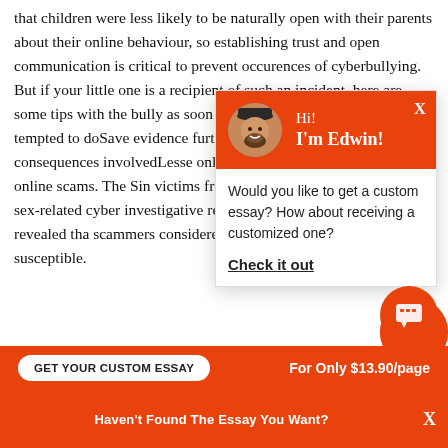that children were less likely to be naturally open with their parents about their online behaviour, so establishing trust and open communication is critical to prevent occurences of cyberbullying. But if your little one is a recipient of such an incident, here are some tips with the bully as soon as po troll or bully by responding tempted to doSave evidence further action – especially w consequences involvedLess onlineA more notorious imp rise of online scams. The Sin victims from seven to 19-ye of victims in sex-related cyber investigative research into Wechat scams revealed tha scammers considered Singaporeans as being more susceptible.
[Figure (screenshot): Chat popup with avatar of Edwin (man with beard), orange header with 'Hi! I'm Edwin!', body text 'Would you like to get a custom essay? How about receiving a customized one?' and bold underlined link 'Check it out'. Close X button top right.]
Haven't Found The Essay You Want?
GET YOUR CUSTOM ESSAY
For Only $13.90/page